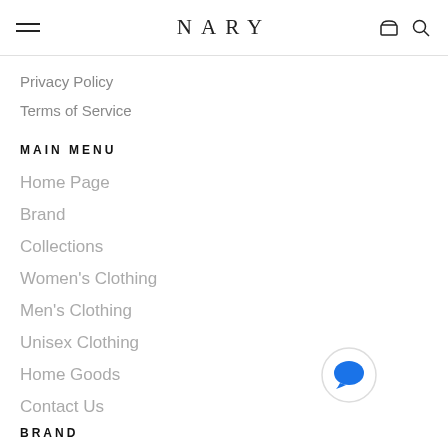NARY
Privacy Policy
Terms of Service
MAIN MENU
Home Page
Brand
Collections
Women's Clothing
Men's Clothing
Unisex Clothing
Home Goods
Contact Us
BRAND